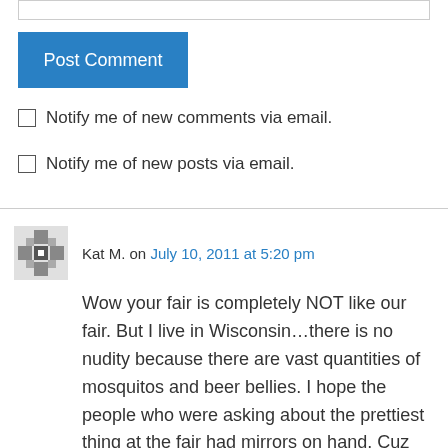[Figure (other): Input text field (top of page, partially visible)]
Post Comment
Notify me of new comments via email.
Notify me of new posts via email.
Kat M. on July 10, 2011 at 5:20 pm
Wow your fair is completely NOT like our fair. But I live in Wisconsin…there is no nudity because there are vast quantities of mosquitos and beer bellies. I hope the people who were asking about the prettiest thing at the fair had mirrors on hand. Cuz that would be very clever and very cute. Down in our state capital they have farmers